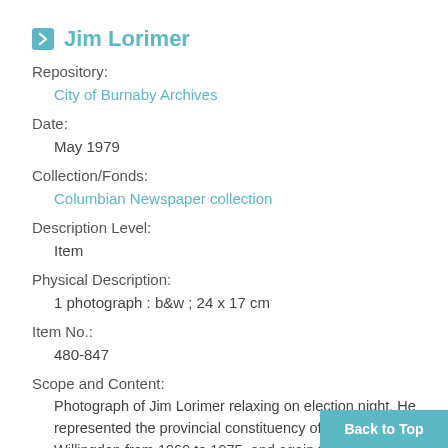Jim Lorimer
Repository:
City of Burnaby Archives
Date:
May 1979
Collection/Fonds:
Columbian Newspaper collection
Description Level:
Item
Physical Description:
1 photograph : b&w ; 24 x 17 cm
Item No.:
480-847
Scope and Content:
Photograph of Jim Lorimer relaxing on election night. He represented the provincial constituency of Burnaby-Willingdon from 1969 to 1975, and again from 1983 for the New Democratic Party. Before tha